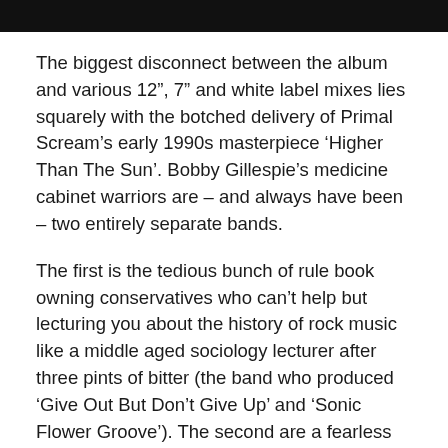[Figure (photo): Dark horizontal image strip at top of page, appears to be a cropped photo]
The biggest disconnect between the album and various 12", 7" and white label mixes lies squarely with the botched delivery of Primal Scream’s early 1990s masterpiece ‘Higher Than The Sun’. Bobby Gillespie’s medicine cabinet warriors are – and always have been – two entirely separate bands.
The first is the tedious bunch of rule book owning conservatives who can’t help but lecturing you about the history of rock music like a middle aged sociology lecturer after three pints of bitter (the band who produced ‘Give Out But Don’t Give Up’ and ‘Sonic Flower Groove’). The second are a fearless bunch of futurists at pace, claiming on shore...